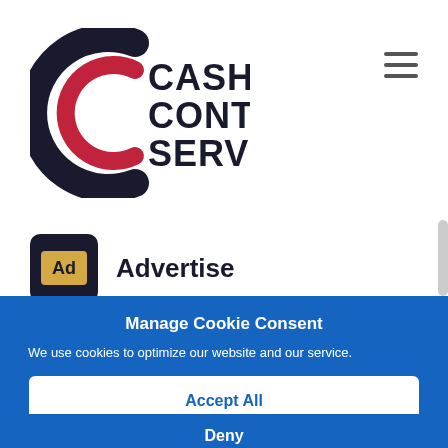[Figure (logo): Cash Control Services logo — dark navy C bracket with red inner C arc, bold text CASH CONTROL SERVICES]
[Figure (other): Hamburger menu icon — three horizontal dark lines]
Advertise
[Figure (other): Ad icon — dark square with gold/yellow rectangle labeled 'Ad']
Manage Cookie Consent
We use cookies to optimize our website and our service.
Accept All
Deny